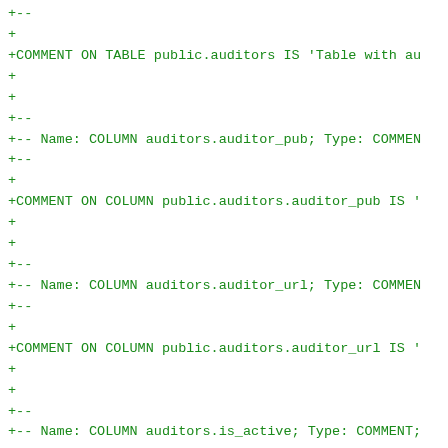+--
+
+COMMENT ON TABLE public.auditors IS 'Table with au
+
+
+--
+-- Name: COLUMN auditors.auditor_pub; Type: COMMEN
+--
+
+COMMENT ON COLUMN public.auditors.auditor_pub IS '
+
+
+--
+-- Name: COLUMN auditors.auditor_url; Type: COMMEN
+--
+
+COMMENT ON COLUMN public.auditors.auditor_url IS '
+
+
+--
+-- Name: COLUMN auditors.is_active; Type: COMMENT;
+--
+
+COMMENT ON COLUMN public.auditors.is_active IS 'tr
+
+
+--
+-- Name: COLUMN auditors.last_change; Type: COMMEN
+--
+